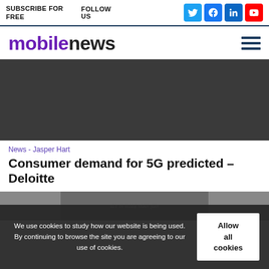SUBSCRIBE FOR FREE   FOLLOW US
[Figure (logo): mobilenews logo with hamburger menu icon]
[Figure (photo): Dark background article hero image]
News - Jasper Hart
Consumer demand for 5G predicted – Deloitte
[Figure (photo): Partial image with text 'IoT is more than just']
We use cookies to study how our website is being used. By continuing to browse the site you are agreeing to our use of cookies.